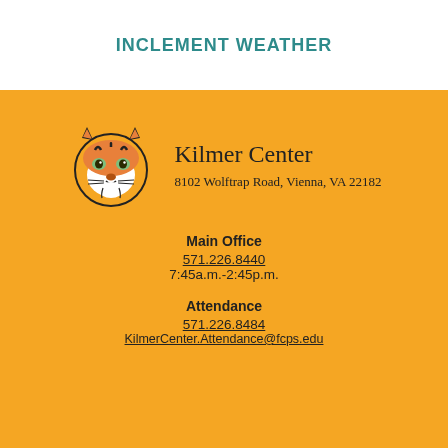INCLEMENT WEATHER
[Figure (logo): Tiger mascot head logo — Kilmer Center school mascot]
Kilmer Center
8102 Wolftrap Road, Vienna, VA 22182
Main Office
571.226.8440
7:45a.m.-2:45p.m.
Attendance
571.226.8484
KilmerCenter.Attendance@fcps.edu